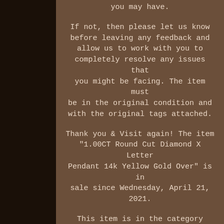you may have.
If not, then please let us know before leaving any feedback and allow us to work with you to completely resolve any issues that you might be facing. The item must be in the original condition and with the original tags attached.
Thank you & Visit again! The item "1.00CT Round Cut Diamond X Letter Pendant 14k Yellow Gold Over" is in sale since Wednesday, April 21, 2021.
This item is in the category "Jewelry & Watches\Fine Jewelry\Fine Necklaces & Pendants\Diamond". The seller is "jewelry_bling" and is located in Houston, Texas. This item can be shipped worldwide. Total Carat Weight: 1.50 - 1.74